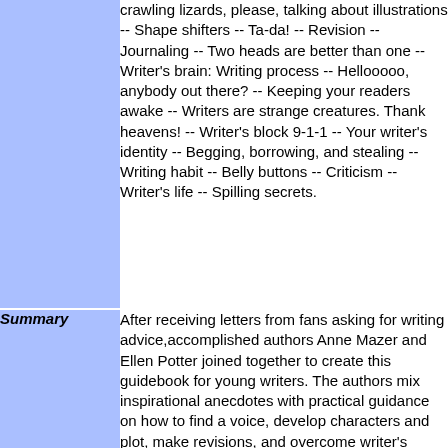crawling lizards, please, talking about illustrations -- Shape shifters -- Ta-da! -- Revision -- Journaling -- Two heads are better than one -- Writer's brain: Writing process -- Hellooooo, anybody out there? -- Keeping your readers awake -- Writers are strange creatures. Thank heavens! -- Writer's block 9-1-1 -- Your writer's identity -- Begging, borrowing, and stealing -- Writing habit -- Belly buttons -- Criticism -- Writer's life -- Spilling secrets.
Summary
After receiving letters from fans asking for writing advice,accomplished authors Anne Mazer and Ellen Potter joined together to create this guidebook for young writers. The authors mix inspirational anecdotes with practical guidance on how to find a voice, develop characters and plot, make revisions, and overcome writer's block. Fun writing prompts